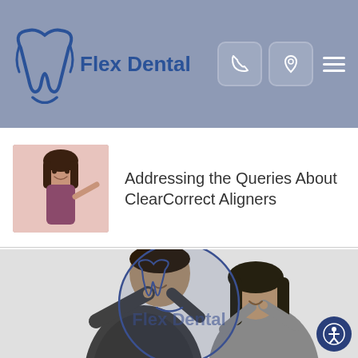Flex Dental
Addressing the Queries About ClearCorrect Aligners
[Figure (photo): Thumbnail photo of a woman holding an aligner tray and pointing at her teeth, used as a blog post image.]
[Figure (photo): Black and white photo of a man and woman pointing at their teeth/smiles, with a Flex Dental watermark logo overlay in the center.]